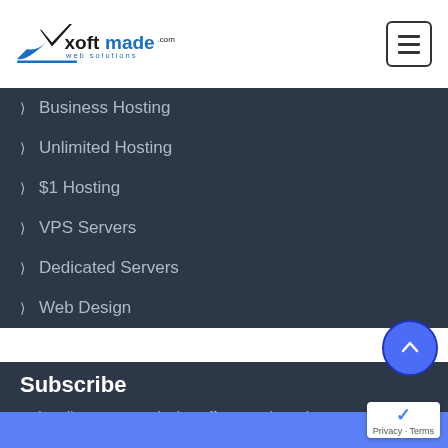Xoftmade.com web solutions
Business Hosting
Unlimited Hosting
$1 Hosting
VPS Servers
Dedicated Servers
Web Design
Subscribe
Subscribe to get Exclusive offer & updates in your Email